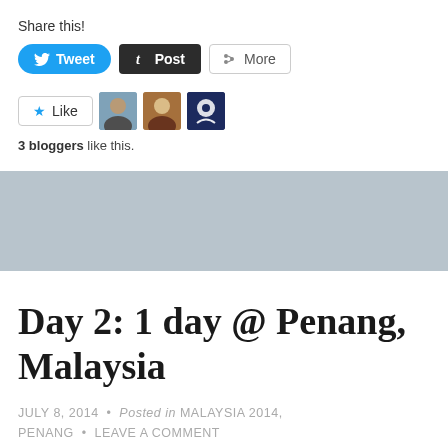Share this!
Tweet  Post  More
[Figure (other): Like button with star icon and three blogger avatar thumbnails]
3 bloggers like this.
[Figure (other): Gray advertisement banner area]
Day 2: 1 day @ Penang, Malaysia
JULY 8, 2014 • Posted in MALAYSIA 2014, PENANG • LEAVE A COMMENT